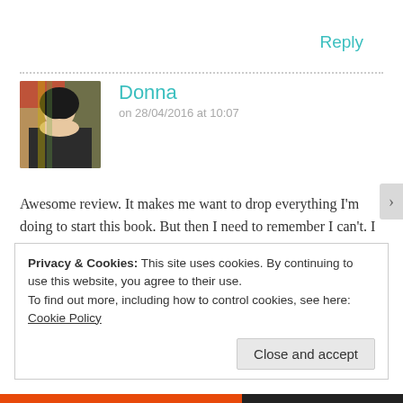Reply
[Figure (photo): Profile photo of Donna, a woman with dark hair, against a background of bookshelves]
Donna
on 28/04/2016 at 10:07
Awesome review. It makes me want to drop everything I'm doing to start this book. But then I need to remember I can't. I love when a story leaves you questioning everything and takes you through twists and turns so good you can't make out the ending before you get there.
Privacy & Cookies: This site uses cookies. By continuing to use this website, you agree to their use.
To find out more, including how to control cookies, see here:
Cookie Policy
Close and accept